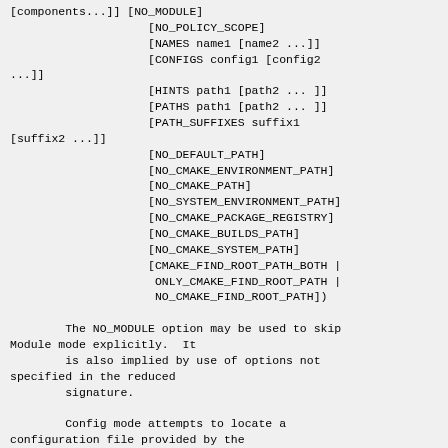[components...]] [NO_MODULE]
                    [NO_POLICY_SCOPE]
                    [NAMES name1 [name2 ...]]
                    [CONFIGS config1 [config2
...]]
                    [HINTS path1 [path2 ... ]]
                    [PATHS path1 [path2 ... ]]
                    [PATH_SUFFIXES suffix1
[suffix2 ...]]
                    [NO_DEFAULT_PATH]
                    [NO_CMAKE_ENVIRONMENT_PATH]
                    [NO_CMAKE_PATH]
                    [NO_SYSTEM_ENVIRONMENT_PATH]
                    [NO_CMAKE_PACKAGE_REGISTRY]
                    [NO_CMAKE_BUILDS_PATH]
                    [NO_CMAKE_SYSTEM_PATH]
                    [CMAKE_FIND_ROOT_PATH_BOTH |
                     ONLY_CMAKE_FIND_ROOT_PATH |
                     NO_CMAKE_FIND_ROOT_PATH])

        The NO_MODULE option may be used to skip Module mode explicitly.  It
        is also implied by use of options not specified in the reduced
        signature.

        Config mode attempts to locate a configuration file provided by the
        package to be found.  A cache entry called <package>_DIR is created to
        hold the directory containing the file.  By default the command
        searches for a package with the name